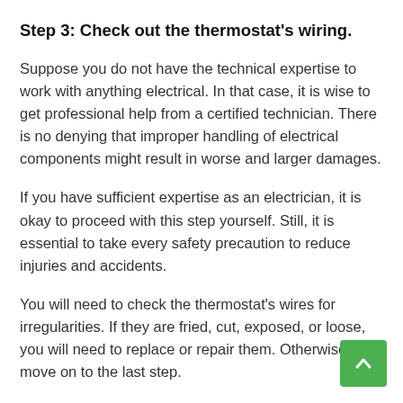Step 3: Check out the thermostat's wiring.
Suppose you do not have the technical expertise to work with anything electrical. In that case, it is wise to get professional help from a certified technician. There is no denying that improper handling of electrical components might result in worse and larger damages.
If you have sufficient expertise as an electrician, it is okay to proceed with this step yourself. Still, it is essential to take every safety precaution to reduce injuries and accidents.
You will need to check the thermostat's wires for irregularities. If they are fried, cut, exposed, or loose, you will need to replace or repair them. Otherwise, move on to the last step.